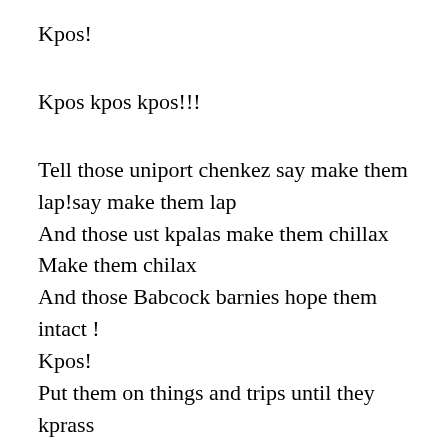Kpos!
Kpos kpos kpos!!!
Tell those uniport chenkez say make them lap!say make them lap
And those ust kpalas make them chillax
Make them chilax
And those Babcock barnies hope them intact !
Kpos!
Put them on things and trips until they kprass
Kpos! Kpos!!kpos!!!
Uhm hmm babe I want to eat your pum pum
On a Kum kum my sex drive is vroom vroom we